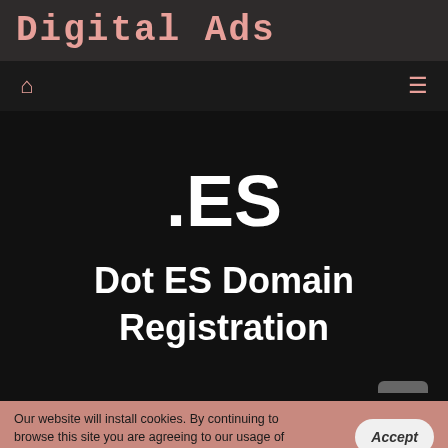Digital Ads
🏠  ≡
.ES
Dot ES Domain Registration
Our website will install cookies. By continuing to browse this site you are agreeing to our usage of cookies. Find out more about this here.